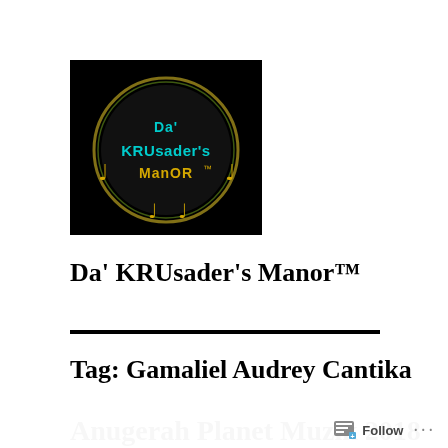[Figure (logo): Da' KRUsader's Manor logo — black background with gold music notes and teal/gold stylized text reading 'Da' KRUsader's Manor™' in a circular arrangement]
Da' KRUsader's Manor™
Tag: Gamaliel Audrey Cantika
Anugerah Planet Muzik 2018